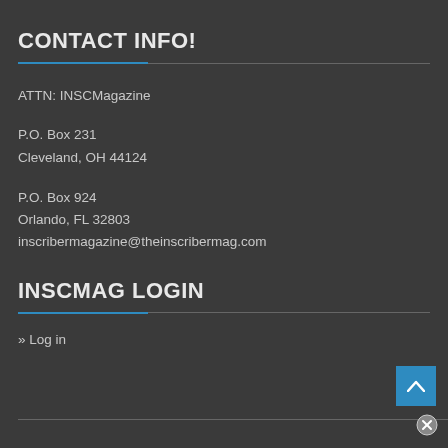CONTACT INFO!
ATTN: INSCMagazine
P.O. Box 231
Cleveland, OH 44124
P.O. Box 924
Orlando, FL 32803
inscribermagazine@theinscribermag.com
INSCMAG LOGIN
» Log in